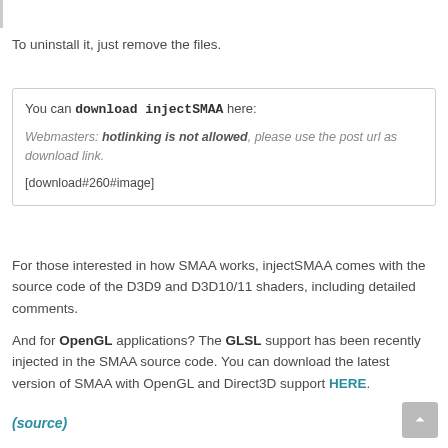To uninstall it, just remove the files.
You can download injectSMAA here:
Webmasters: hotlinking is not allowed, please use the post url as download link.
[download#260#image]
For those interested in how SMAA works, injectSMAA comes with the source code of the D3D9 and D3D10/11 shaders, including detailed comments.
And for OpenGL applications? The GLSL support has been recently injected in the SMAA source code. You can download the latest version of SMAA with OpenGL and Direct3D support HERE.
(source)